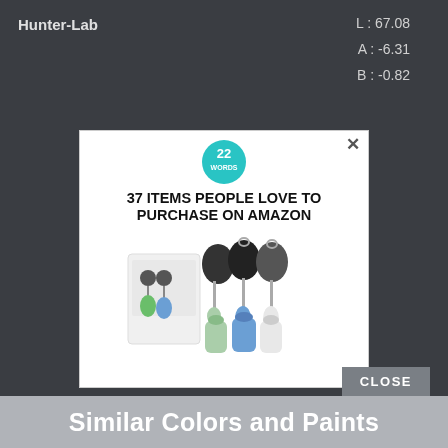| Property | Value |
| --- | --- |
| Hunter-Lab | L : 67.08 |
|  | A : -6.31 |
|  | B : -0.82 |
[Figure (screenshot): Advertisement popup for '22 Words' showing '37 Items People Love to Purchase on Amazon' with product image of retractable badge reels and travel bottles, with an X close button in top right corner]
CLOSE
Similar Colors and Paints